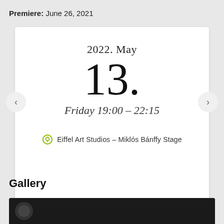Premiere: June 26, 2021
2022. May
13.
Friday 19:00 – 22:15
Eiffel Art Studios – Miklós Bánffy Stage
Gallery